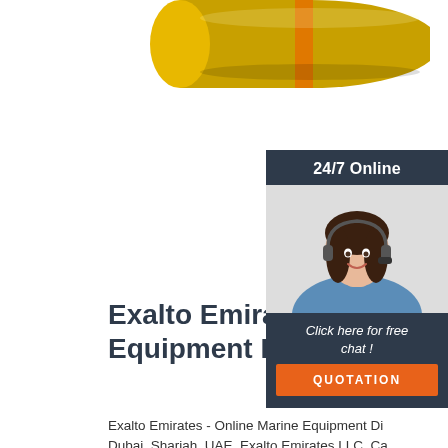[Figure (photo): Partial view of yellow and orange industrial pipe or cylinder at top of page]
Exalto Emirates - Online Mari Equipment Distributor ...
Exalto Emirates - Online Marine Equipment Di Dubai, Sharjah, UAE. Exalto Emirates LLC. Ca 6 545 3366. 0.
[Figure (infographic): 24/7 Online support widget with photo of woman with headset, 'Click here for free chat!' text, and QUOTATION button]
Get Price